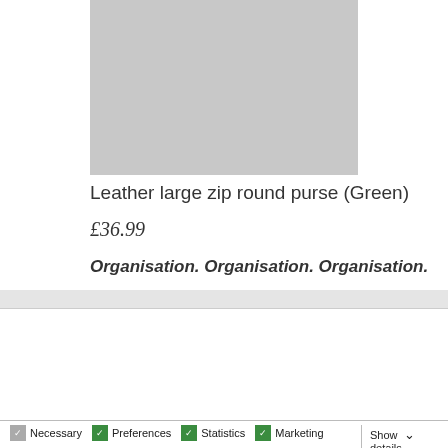[Figure (photo): Gray placeholder rectangle representing a product image of a leather zip round purse]
Leather large zip round purse (Green)
£36.99
Organisation. Organisation. Organisation.
Our website uses cookies
We use cookies to personalise content and ads, to provide social media features and to analyse our traffic. We also share information about your use of our site with our social media, advertising and analytics partners who may combine it with other information that you've provided to them or that they've collected from your use of their services.
Allow selection | Allow all cookies
Necessary  Preferences  Statistics  Marketing  Show details